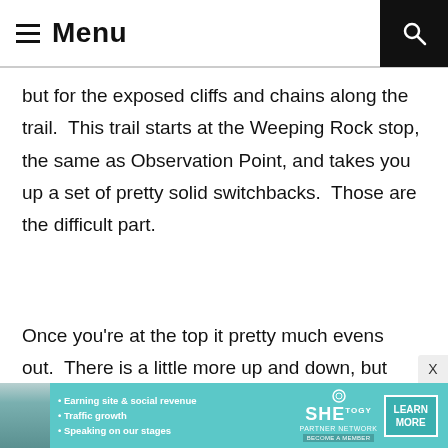Menu
but for the exposed cliffs and chains along the trail.  This trail starts at the Weeping Rock stop, the same as Observation Point, and takes you up a set of pretty solid switchbacks.  Those are the difficult part.
Once you’re at the top it pretty much evens out.  There is a little more up and down, but it’s pretty easy.  This is where you go around the edge of
[Figure (infographic): Advertisement banner for SHE Partner Network. Shows a woman photo, bullet points: Earning site & social revenue, Traffic growth, Speaking on our stages. SHE logo with PARTNER NETWORK and BECOME A MEMBER text. LEARN MORE button.]